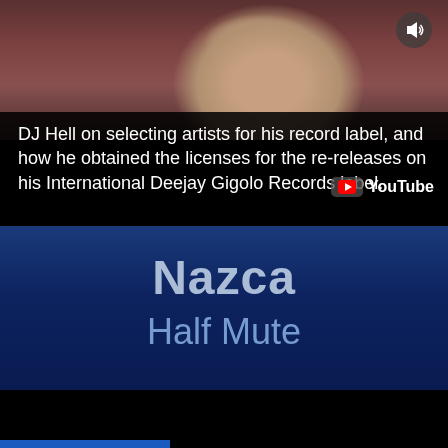[Figure (screenshot): Top YouTube video thumbnail showing a person with light hair wearing a dark red/maroon jacket, with a speaker/sound icon in the top right corner]
DJ Hell on selecting artists for his record label, and how he obtained the licenses for the re-releases on his International Deejay Gigolo Records label.
[Figure (screenshot): Bottom YouTube video thumbnail showing a dark blue background with the text 'Nazca' in large light letters and 'Half Mute' below it]
Nazca
Half Mute